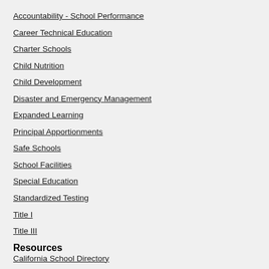Accountability - School Performance
Career Technical Education
Charter Schools
Child Nutrition
Child Development
Disaster and Emergency Management
Expanded Learning
Principal Apportionments
Safe Schools
School Facilities
Special Education
Standardized Testing
Title I
Title III
Resources
California School Directory
Education Calendars